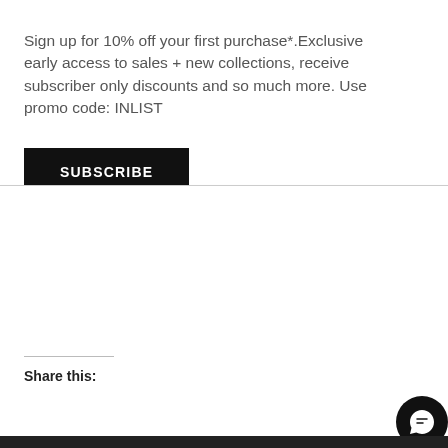×
Sign up for 10% off your first purchase*.Exclusive early access to sales + new collections, receive subscriber only discounts and so much more. Use promo code: INLIST
SUBSCRIBE
Share this:
[Figure (screenshot): Twitter and Facebook share icons (blue circles), and a green WhatsApp chat bar reading 'How can I help you? TEXT U...' with a black Tawk.to button]